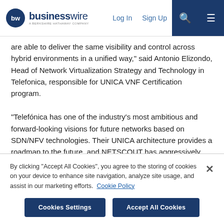businesswire — A BERKSHIRE HATHAWAY COMPANY | Log In | Sign Up
are able to deliver the same visibility and control across hybrid environments in a unified way," said Antonio Elizondo, Head of Network Virtualization Strategy and Technology in Telefonica, responsible for UNICA VNF Certification program.
"Telefónica has one of the industry's most ambitious and forward-looking visions for future networks based on SDN/NFV technologies. Their UNICA architecture provides a roadmap to the future, and NETSCOUT has aggressively taken the necessary steps to be there with them, delivering unmatched visibility into the hybrid cloud environment," said Bruce Kelley, senior vice president, chief technology officer, Service Provider, NETSCOUT.
By clicking "Accept All Cookies", you agree to the storing of cookies on your device to enhance site navigation, analyze site usage, and assist in our marketing efforts. Cookie Policy
Cookies Settings | Accept All Cookies